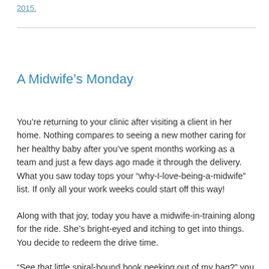2015.
A Midwife’s Monday
You’re returning to your clinic after visiting a client in her home. Nothing compares to seeing a new mother caring for her healthy baby after you’ve spent months working as a team and just a few days ago made it through the delivery. What you saw today tops your “why-I-love-being-a-midwife” list. If only all your work weeks could start off this way!
Along with that joy, today you have a midwife-in-training along for the ride. She’s bright-eyed and itching to get into things. You decide to redeem the drive time.
“See that little spiral-bound book peeking out of my bag?” you